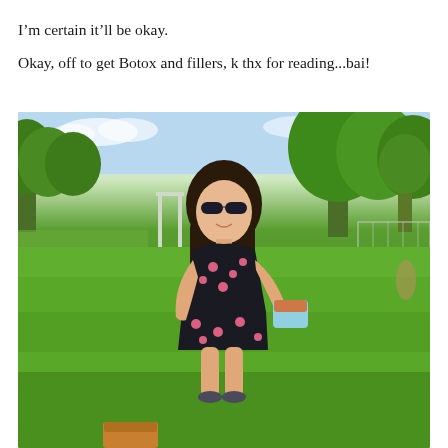I’m certain it’ll be okay.
Okay, off to get Botox and fillers, k thx for reading...bai!
[Figure (photo): A young woman with long dark hair and sunglasses wearing a black floral romper, standing in a sunny green park holding a container of food, with trees and a sports field in the background.]